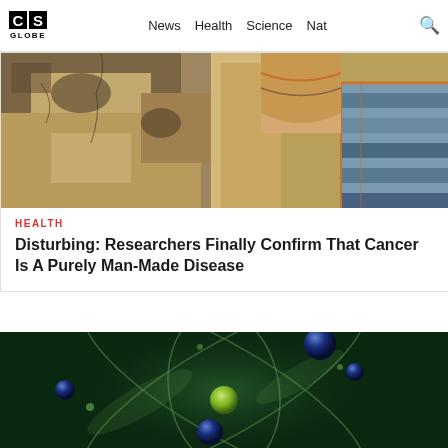CS GLOBE | News | Health | Science | Nat
[Figure (photo): Ancient Egyptian fresco/wall painting showing colorful figures with orange, blue and grey tones]
HEALTH
Disturbing: Researchers Finally Confirm That Cancer Is A Purely Man-Made Disease
[Figure (photo): Scientific illustration of an atom model with blue and green spheres and orbital rings on a dark green background]